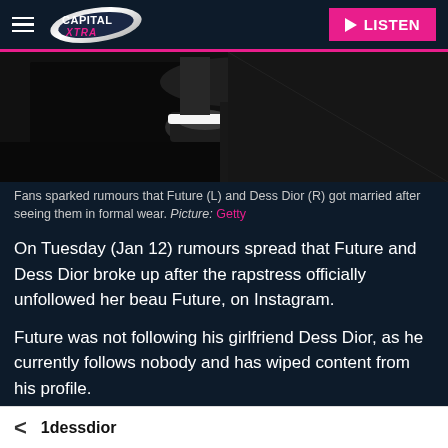Capital Xtra — LISTEN
[Figure (photo): Dark photo showing feet/shoes of people in formal wear, partially cropped]
Fans sparked rumours that Future (L) and Dess Dior (R) got married after seeing them in formal wear. Picture: Getty
On Tuesday (Jan 12) rumours spread that Future and Dess Dior broke up after the rapstress officially unfollowed her beau Future, on Instagram.
Future was not following his girlfriend Dess Dior, as he currently follows nobody and has wiped content from his profile.
1dessdior